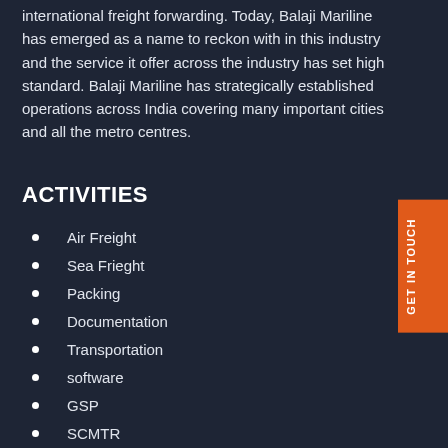international freight forwarding. Today, Balaji Mariline has emerged as a name to reckon with in this industry and the service it offer across the industry has set high standard. Balaji Mariline has strategically established operations across India covering many important cities and all the metro centres.
ACTIVITIES
Air Freight
Sea Frieght
Packing
Documentation
Transportation
software
GSP
SCMTR
EwayBill